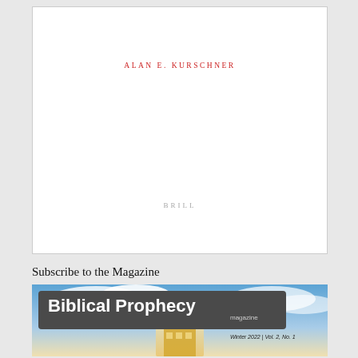[Figure (other): Book cover page with white background, author name 'ALAN E. KURSCHNER' in red spaced caps near top, and publisher 'BRILL' in gray spaced caps near bottom]
Subscribe to the Magazine
[Figure (photo): Cover of Biblical Prophecy magazine, Winter 2022, Vol. 2, No. 1. Dark banner with large white bold text 'Biblical Prophecy' and smaller 'magazine'. Background shows sky with clouds and a glowing building structure.]